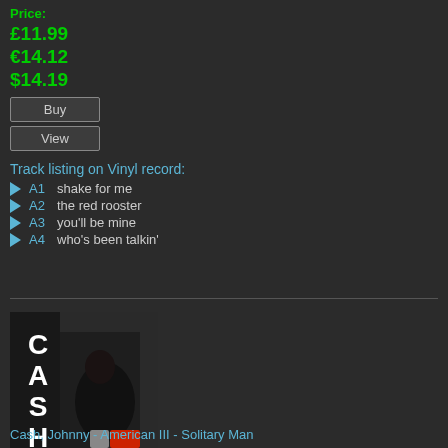Price:
£11.99
€14.12
$14.19
Buy
View
Track listing on Vinyl record:
A1   shake for me
A2   the red rooster
A3   you'll be mine
A4   who's been talkin'
[Figure (photo): Album cover for Johnny Cash - American III: Solitary Man, showing a black and white photo of Johnny Cash with 'CASH' text in large white letters on the left side]
Cash, Johnny - American III - Solitary Man